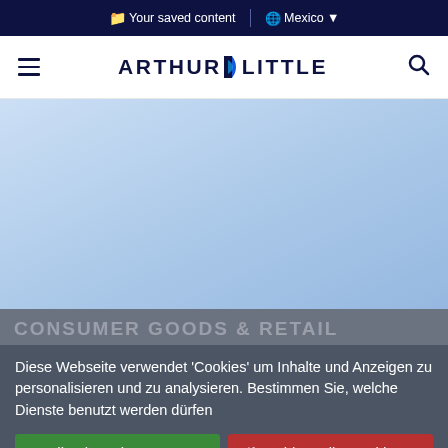Your saved content | Mexico
[Figure (logo): Arthur D. Little logo with hamburger menu and search icon in white header bar]
[Figure (photo): Light blue sky background hero image area]
CONSUMER GOODS & RETAIL
Diese Webseite verwendet 'Cookies' um Inhalte und Anzeigen zu personalisieren und zu analysieren. Bestimmen Sie, welche Dienste benutzt werden dürfen
✓ Alle akzeptieren
✗ Verbiete alle Cookies
Personalisieren
Datenschutzbestimmungen